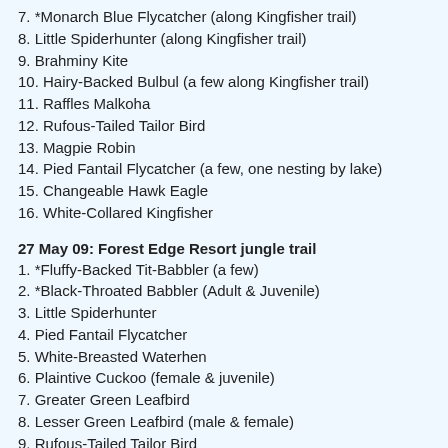7. *Monarch Blue Flycatcher (along Kingfisher trail)
8. Little Spiderhunter (along Kingfisher trail)
9. Brahminy Kite
10. Hairy-Backed Bulbul (a few along Kingfisher trail)
11. Raffles Malkoha
12. Rufous-Tailed Tailor Bird
13. Magpie Robin
14. Pied Fantail Flycatcher (a few, one nesting by lake)
15. Changeable Hawk Eagle
16. White-Collared Kingfisher
27 May 09: Forest Edge Resort jungle trail
1. *Fluffy-Backed Tit-Babbler (a few)
2. *Black-Throated Babbler (Adult & Juvenile)
3. Little Spiderhunter
4. Pied Fantail Flycatcher
5. White-Breasted Waterhen
6. Plaintive Cuckoo (female & juvenile)
7. Greater Green Leafbird
8. Lesser Green Leafbird (male & female)
9. Rufous-Tailed Tailor Bird
10. Chestnut Munia
11. Tree Sparrow